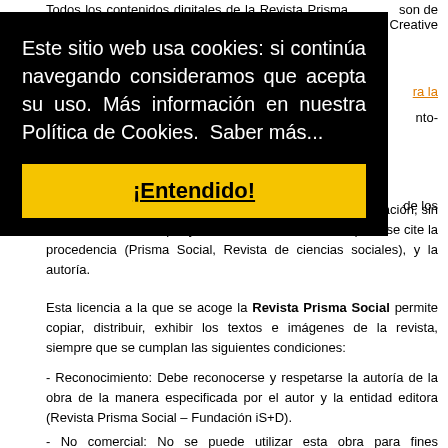Todos los contenidos digitales de la Revista Prisma Social son de licencia Creative Commons...
[Figure (other): Cookie consent overlay banner with black background, text 'Este sitio web usa cookies: si continúa navegando consideramos que acepta su uso. Más información en nuestra Política de Cookies. Saber más...' and a yellow button labeled '¡Entendido!']
...de los contenidos de la revista con fines educativos o de investigación, sin ánimo de lucro, siempre y cuando estos no se modifiquen, se cite la procedencia (Prisma Social, Revista de ciencias sociales), y la autoría.
Esta licencia a la que se acoge la Revista Prisma Social permite copiar, distribuir, exhibir los textos e imágenes de la revista, siempre que se cumplan las siguientes condiciones:
- Reconocimiento: Debe reconocerse y respetarse la autoría de la obra de la manera especificada por el autor y la entidad editora (Revista Prisma Social – Fundación iS+D).
- No comercial: No se puede utilizar esta obra para fines comerciales.
- No derivados: No se puede alterar, transformar o...